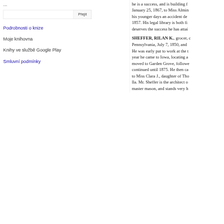...
Podrobnosti o knize
Moje knihovna
Knihy ve službě Google Play
Smluvní podmínky
he is a success, and is building f… January 25, 1867, to Miss Almin… his younger days an accident de… 1857. His legal library is both fi… deserves the success he has attai…
SHEFFER, RILAN K., grocer, c… Pennsylvania, July 7, 1850, and … He was early put to work at the t… year he came to Iowa, locating a… moved to Garden Grove, followe… continued until 1875. He then ca… to Miss Clara J., daughter of Tho… lla. Mr. Sheffer is the architect o… master mason, and stands very h…
SHELDON, ANCIL L., propriete… York, January 21, 1826, where h… went to Ripley county, Indiana, m… locating in White Cloud townshi… trade in 1843 and 1844, and from… had cleared and worked three far… business of a general merchant in… in October, 1819, to Miss Mary …